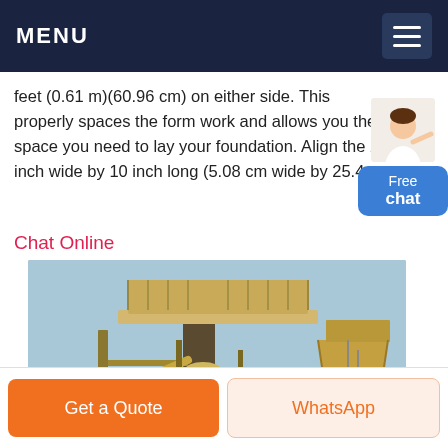MENU
feet (0.61 m)(60.96 cm) on either side. This properly spaces the form work and allows you the space you need to lay your foundation. Align the 2 inch wide by 10 inch long (5.08 cm wide by 25.4
Chat Online
[Figure (photo): Industrial heavy machinery / aggregate crushing plant with yellow steel structures, conveyor belts, silos, and a large hopper, photographed outdoors under a blue sky.]
Get a Quote
WhatsApp